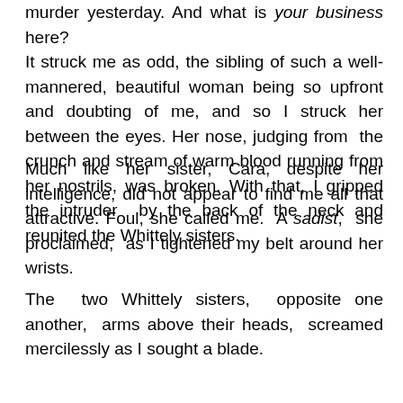murder yesterday. And what is your business here? It struck me as odd, the sibling of such a well-mannered, beautiful woman being so upfront and doubting of me, and so I struck her between the eyes. Her nose, judging from the crunch and stream of warm blood running from her nostrils, was broken. With that, I gripped the intruder by the back of the neck and reunited the Whittely sisters.
Much like her sister, Cara, despite her intelligence, did not appear to find me all that attractive. Foul, she called me. A sadist, she proclaimed, as I tightened my belt around her wrists.
The two Whittely sisters, opposite one another, arms above their heads, screamed mercilessly as I sought a blade.